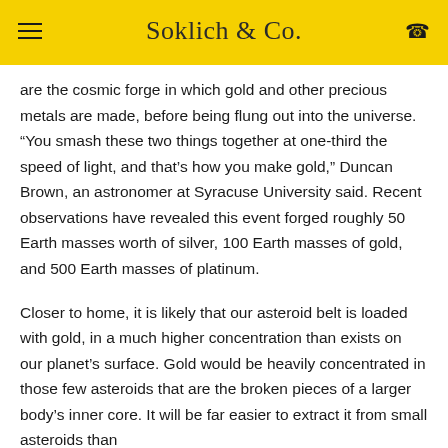Soklich & Co.
are the cosmic forge in which gold and other precious metals are made, before being flung out into the universe. "You smash these two things together at one-third the speed of light, and that's how you make gold," Duncan Brown, an astronomer at Syracuse University said. Recent observations have revealed this event forged roughly 50 Earth masses worth of silver, 100 Earth masses of gold, and 500 Earth masses of platinum.
Closer to home, it is likely that our asteroid belt is loaded with gold, in a much higher concentration than exists on our planet's surface. Gold would be heavily concentrated in those few asteroids that are the broken pieces of a larger body's inner core. It will be far easier to extract it from small asteroids than